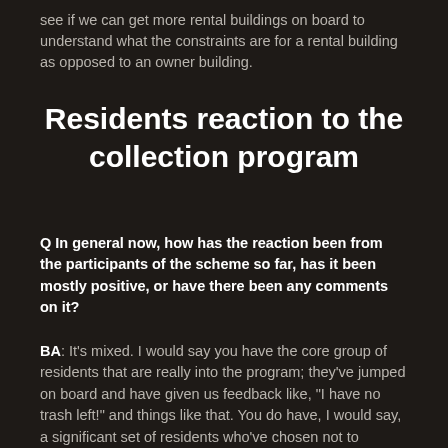see if we can get more rental buildings on board to understand what the constraints are for a rental building as opposed to an owner building.
Residents reaction to the collection program
Q In general now, how has the reaction been from the participants of the scheme so far, has it been mostly positive, or have there been any comments on it?
BA: It's mixed. I would say you have the core group of residents that are really into the program; they've jumped on board and have given us feedback like, "I have no trash left!" and things like that. You do have, I would say, a significant set of residents who've chosen not to participate, and that's the group that we're really trying to recruit now. So we're going back into the pilot areas and